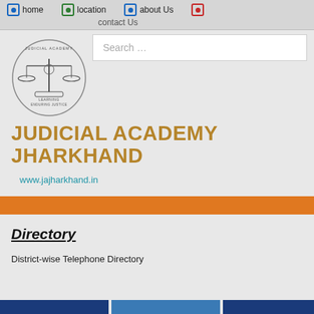home | location | about Us | contact Us
[Figure (screenshot): Search bar with placeholder text 'Search ...']
[Figure (logo): Judicial Academy Jharkhand emblem with scales of justice]
JUDICIAL ACADEMY JHARKHAND
www.jajharkhand.in
Directory
District-wise Telephone Directory